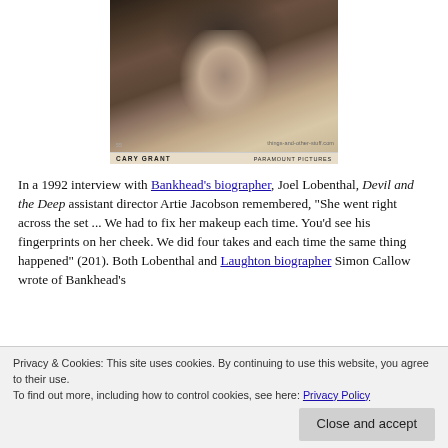[Figure (photo): Sepia-toned vintage portrait photograph of Cary Grant for Paramount Pictures, with a label bar reading 'CARY GRANT' and 'PARAMOUNT PICTURES' and watermark 'things-and-other-stuff.com']
In a 1992 interview with Bankhead's biographer, Joel Lobenthal, Devil and the Deep assistant director Artie Jacobson remembered, "She went right across the set ... We had to fix her makeup each time. You'd see his fingerprints on her cheek. We did four takes and each time the same thing happened" (201). Both Lobenthal and Laughton biographer Simon Callow wrote of Bankhead's ...
Privacy & Cookies: This site uses cookies. By continuing to use this website, you agree to their use.
To find out more, including how to control cookies, see here: Privacy Policy
Close and accept